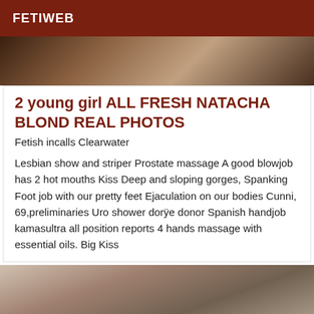FETIWEB
[Figure (photo): Partial photo of a person, cropped, dark warm tones]
2 young girl ALL FRESH NATACHA BLOND REAL PHOTOS
Fetish incalls Clearwater
Lesbian show and striper Prostate massage A good blowjob has 2 hot mouths Kiss Deep and sloping gorges, Spanking Foot job with our pretty feet Ejaculation on our bodies Cunni, 69,preliminaries Uro shower dorfe donor Spanish handjob kamasultra all position reports 4 hands massage with essential oils. Big Kiss
[Figure (photo): Partial photo of a person with dark hair, light background]